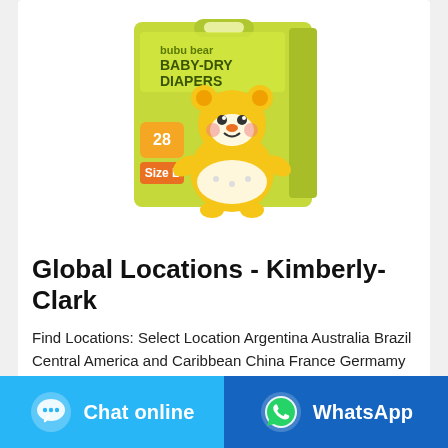[Figure (photo): Bubu Bear Baby-Dry Diapers product package (28 count, size L), green packaging with cartoon bear character]
Global Locations - Kimberly-Clark
Find Locations: Select Location Argentina Australia Brazil Central America and Caribbean China France Germamy India Israel KC Softex Indonesia Mexico Paraguay Russia South Africa Spain Taiwan, China Thailand Turkey Uruguay Vietnam Yuhan-Kimberly (Korea)
[Figure (infographic): Chat online button with speech bubble icon on cyan/light-blue background]
[Figure (infographic): WhatsApp button with WhatsApp logo icon on dark blue background]